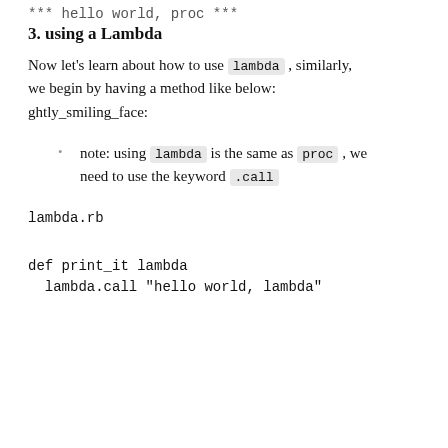*** hello world, proc ***
3. using a Lambda
Now let's learn about how to use lambda , similarly, we begin by having a method like below: ghtly_smiling_face:
note: using lambda is the same as proc , we need to use the keyword .call
lambda.rb
def print_it lambda
lambda.call "hello world, lambda"